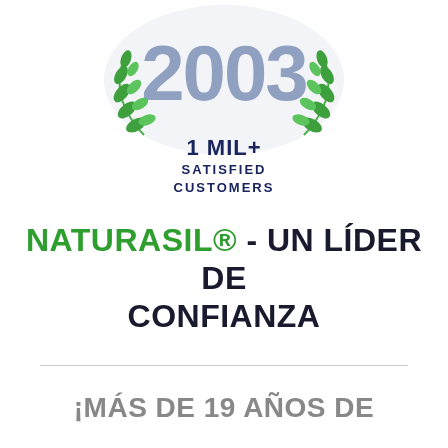[Figure (infographic): Award badge with laurel wreath, large year 2003 in blue-gray, and '1 MIL+ SATISFIED CUSTOMERS' text in dark navy bold]
NATURASIL® - UN LÍDER DE CONFIANZA
¡MÁS DE 19 AÑOS DE